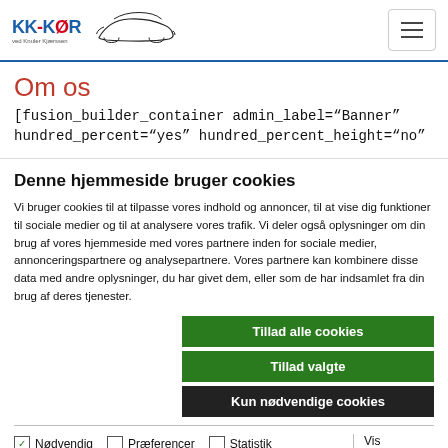KK-KØR logo and navigation header
Om os
[fusion_builder_container admin_label="Banner" hundred_percent="yes" hundred_percent_height="no"
Denne hjemmeside bruger cookies
Vi bruger cookies til at tilpasse vores indhold og annoncer, til at vise dig funktioner til sociale medier og til at analysere vores trafik. Vi deler også oplysninger om din brug af vores hjemmeside med vores partnere inden for sociale medier, annonceringspartnere og analysepartnere. Vores partnere kan kombinere disse data med andre oplysninger, du har givet dem, eller som de har indsamlet fra din brug af deres tjenester.
Tillad alle cookies | Tillad valgte | Kun nødvendige cookies
Nødvendig | Præferencer | Statistik | Marketing | Vis detaljer